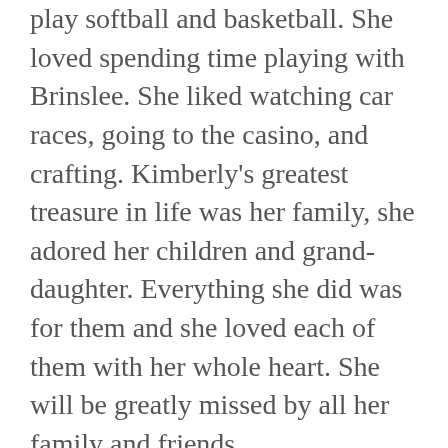play softball and basketball. She loved spending time playing with Brinslee. She liked watching car races, going to the casino, and crafting. Kimberly's greatest treasure in life was her family, she adored her children and grand-daughter. Everything she did was for them and she loved each of them with her whole heart. She will be greatly missed by all her family and friends. Left to cherish her memory is her husband, Scott Hartline of Dibble, OK, her father, Mike Mowdy and wife Theresa of Pocasset, OK, and stepfather, Butch Flint of Tennessee Colony, TX, her children, Meghan Faber of Dibble, OK, Brinslee Hartline of Dibble, OK, Cheyanne Hartline of Dibble, OK, and Dakota Hartline of Chickasha, OK, her